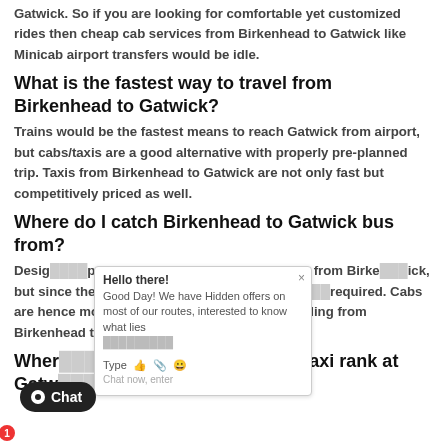Gatwick. So if you are looking for comfortable yet customized rides then cheap cab services from Birkenhead to Gatwick like Minicab airport transfers would be idle.
What is the fastest way to travel from Birkenhead to Gatwick?
Trains would be the fastest means to reach Gatwick from airport, but cabs/taxis are a good alternative with properly pre-planned trip. Taxis from Birkenhead to Gatwick are not only fast but competitively priced as well.
Where do I catch Birkenhead to Gatwick bus from?
Desig[nated stops] can be looked for to board a bus from Birke[nhead to Gatw]ick, but since there is no direct bus, a detour at ce[rtain stops is] required. Cabs are hence most opted alteri[native when it] comes to travelling from Birkenhead to Gatw[ick, either wa]y.
Wher[e can I land] in Gatwick? Is there a taxi rank at Gatw[ick]?
Gatwick is one of the busiest airports with a number of taxi ranks